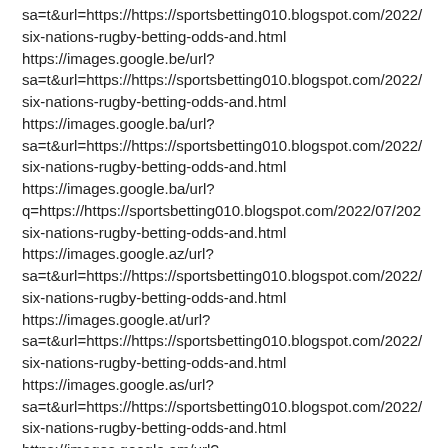sa=t&url=https://https://sportsbetting010.blogspot.com/2022/ six-nations-rugby-betting-odds-and.html https://images.google.be/url? sa=t&url=https://https://sportsbetting010.blogspot.com/2022/ six-nations-rugby-betting-odds-and.html https://images.google.ba/url? sa=t&url=https://https://sportsbetting010.blogspot.com/2022/ six-nations-rugby-betting-odds-and.html https://images.google.ba/url? q=https://https://sportsbetting010.blogspot.com/2022/07/202 six-nations-rugby-betting-odds-and.html https://images.google.az/url? sa=t&url=https://https://sportsbetting010.blogspot.com/2022/ six-nations-rugby-betting-odds-and.html https://images.google.at/url? sa=t&url=https://https://sportsbetting010.blogspot.com/2022/ six-nations-rugby-betting-odds-and.html https://images.google.as/url? sa=t&url=https://https://sportsbetting010.blogspot.com/2022/ six-nations-rugby-betting-odds-and.html https://images.google.am/url?